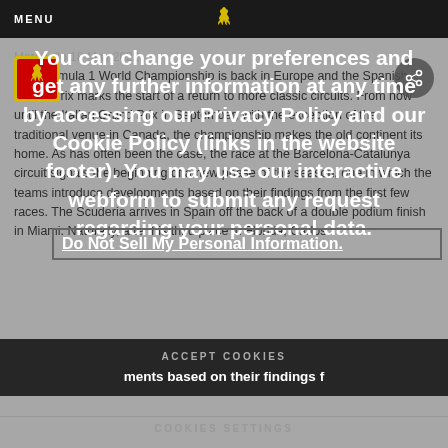MENU
You can change your preferences and get any further information at any time by accessing our Privacy Policy and our Cookie Policy (links in the website footer). You may use our interactive webform to submit any request regarding your personal data. Do Not Sell My Personal Information.
Maranello 18 May 2022
The Formula 1 World Championship is back in Europe and the Spanish Grand Prix marks the start of a return to more classic circuits. From now until the Italian Grand Prix in September, with the exception of the traditional venue in Canada, the championship makes the old continent its home. As has often been the case, the race at the Barcelona-Catalunya circuit signals the beginning of a new phase of the season, one in which the teams introduce developments based on their findings from the first few races. The Scuderia arrives in Spain off the back of a double podium finish in Miami. Naturally, after his third place in Florida, Carlos
ACCEPT COOKIES
COOKIES SETTINGS